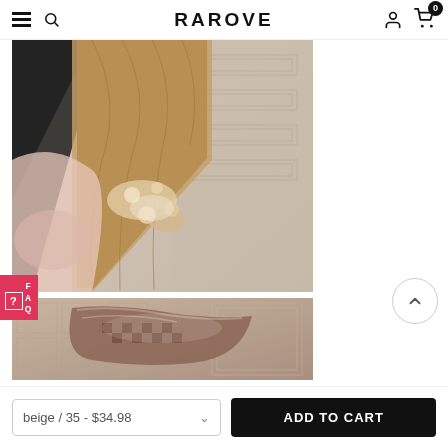RAROVE
[Figure (photo): Close-up photo of a sandal with decorative embellishments on a patterned tile floor]
[Figure (photo): Close-up photo of a sandal strap/shoe partially wrapped, on a patterned tile floor]
beige / 35 - $34.98
ADD TO CART